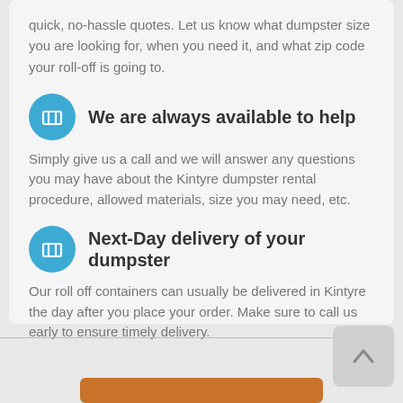quick, no-hassle quotes. Let us know what dumpster size you are looking for, when you need it, and what zip code your roll-off is going to.
We are always available to help
Simply give us a call and we will answer any questions you may have about the Kintyre dumpster rental procedure, allowed materials, size you may need, etc.
Next-Day delivery of your dumpster
Our roll off containers can usually be delivered in Kintyre the day after you place your order. Make sure to call us early to ensure timely delivery.